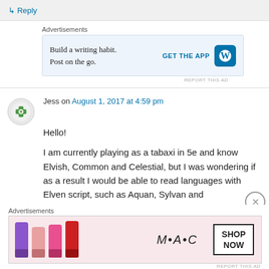↳ Reply
Advertisements
[Figure (screenshot): WordPress app advertisement: 'Build a writing habit. Post on the go.' with GET THE APP button and WordPress logo]
REPORT THIS AD
Jess on August 1, 2017 at 4:59 pm
Hello!

I am currently playing as a tabaxi in 5e and know Elvish, Common and Celestial, but I was wondering if as a result I would be able to read languages with Elven script, such as Aquan, Sylvan and Undercommon?
Advertisements
[Figure (photo): MAC cosmetics advertisement showing lipsticks in purple, pink, and red colors with SHOP NOW button]